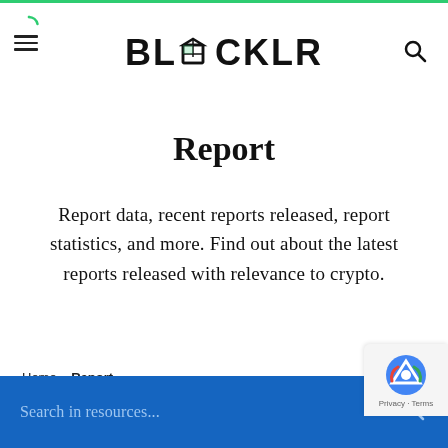BLOCKLR
Report
Report data, recent reports released, report statistics, and more. Find out about the latest reports released with relevance to crypto.
Home » Report
Search in resources...